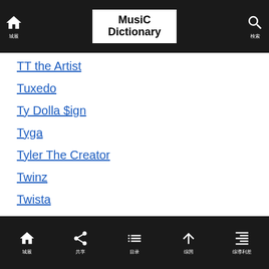Music Dictionary
TT the Artist
Tuxedo
Ty Dolla $ign
Tyga
Tyler The Creator
Twinz
Twista
U
Home | Share | List | Up | Indent